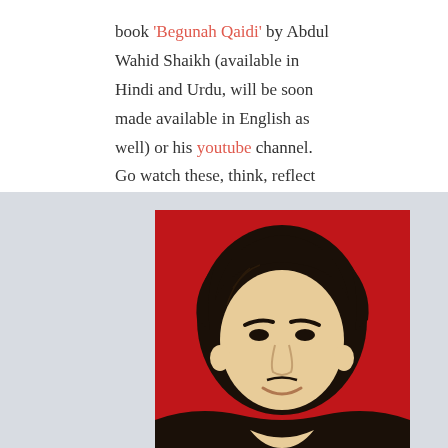book 'Begunah Qaidi' by Abdul Wahid Shaikh (available in Hindi and Urdu, will be soon made available in English as well) or his youtube channel. Go watch these, think, reflect and change your thoughts and actions.
[Figure (illustration): A stylized pop-art style illustration of a person's head and shoulders against a bright red background. The figure has dark black hair and a beige/cream face, painted in a flat graphic style reminiscent of Andy Warhol portraits.]